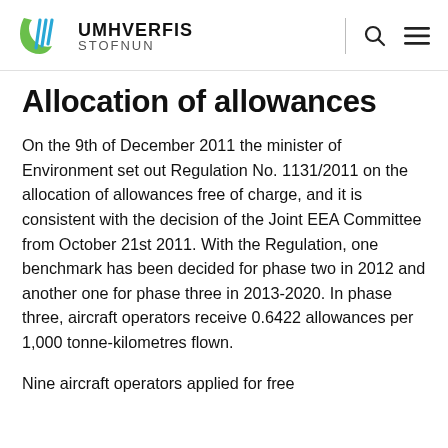UMHVERFIS STOFNUN
Allocation of allowances
On the 9th of December 2011 the minister of Environment set out Regulation No. 1131/2011 on the allocation of allowances free of charge, and it is consistent with the decision of the Joint EEA Committee from October 21st 2011. With the Regulation, one benchmark has been decided for phase two in 2012 and another one for phase three in 2013-2020. In phase three, aircraft operators receive 0.6422 allowances per 1,000 tonne-kilometres flown.
Nine aircraft operators applied for free